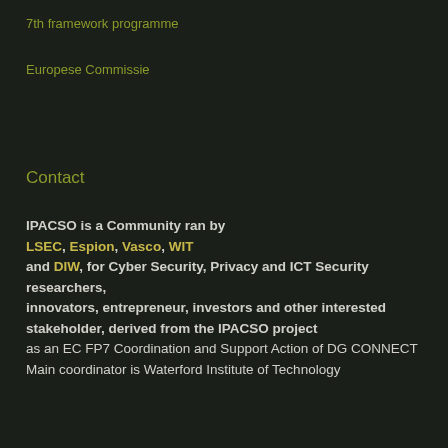7th framework programme
Europese Commissie
Contact
IPACSO is a Community ran by LSEC, Espion, Vasco, WIT and DIW, for Cyber Security, Privacy and ICT Security researchers, innovators, entrepreneur, investors and other interested stakeholder, derived from the IPACSO project as an EC FP7 Coordination and Support Action of DG CONNECT Main coordinator is Waterford Institute of Technology